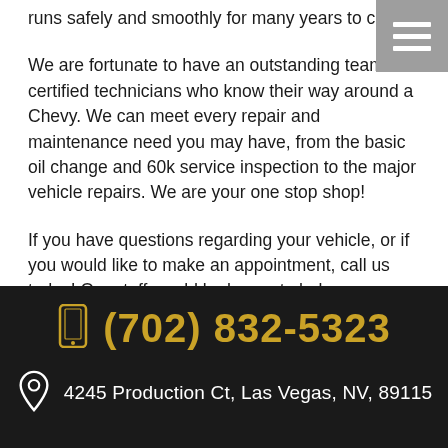runs safely and smoothly for many years to come.
We are fortunate to have an outstanding team of certified technicians who know their way around a Chevy. We can meet every repair and maintenance need you may have, from the basic oil change and 60k service inspection to the major vehicle repairs. We are your one stop shop!
If you have questions regarding your vehicle, or if you would like to make an appointment, call us today! Our staff would be happy to help you.
(702) 832-5323
4245 Production Ct, Las Vegas, NV, 89115